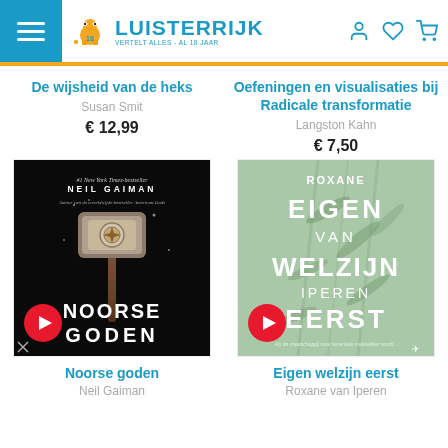Luisterrijk — Vertelt alles - Al 18 jaar
De wijsheid van de heks
Susan Smit
€ 12,99
Oefeningen en visualisaties bij Radicale transformatie
Langston Kahn
€ 7,50
[Figure (photo): Book cover: Noorse goden by Neil Gaiman — dark background with a viking hammer, title text 'Noorse Goden', author 'Neil Gaiman', play button overlay]
[Figure (photo): Book cover: Eigen welzijn eerst by Roxane van Iperen — mint green background with bamboo leaves, title text 'EIGEN VAN WELZIJN IPEREN EERST', play button overlay]
Noorse goden
Neil Gaiman
Eigen welzijn eerst
Roxane van Iperen